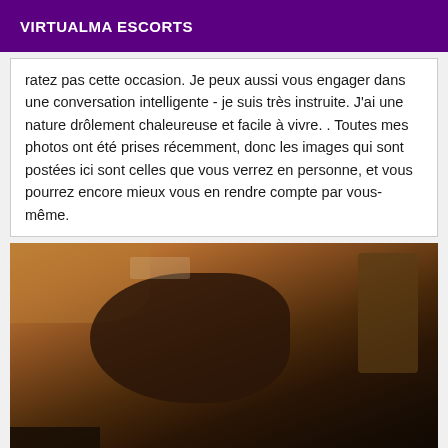VIRTUALMA ESCORTS
ratez pas cette occasion. Je peux aussi vous engager dans une conversation intelligente - je suis très instruite. J'ai une nature drôlement chaleureuse et facile à vivre. . Toutes mes photos ont été prises récemment, donc les images qui sont postées ici sont celles que vous verrez en personne, et vous pourrez encore mieux vous en rendre compte par vous-même.
[Figure (photo): A dark, dimly lit photograph with warm amber/brown tones showing a partial view of a person in low lighting conditions.]